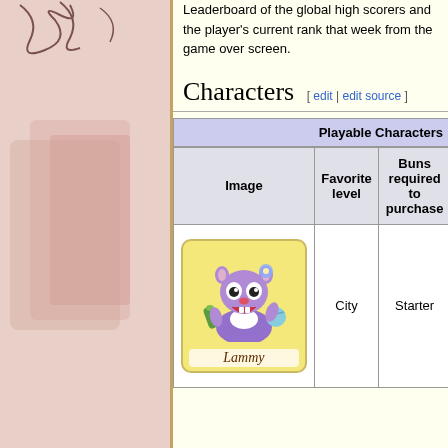Leaderboard of the global high scorers and the player's current rank that week from the game over screen.
Characters [ edit | edit source ]
| Image | Favorite level | Buns required to purchase |
| --- | --- | --- |
| [Lammy character card] | City | Starter |